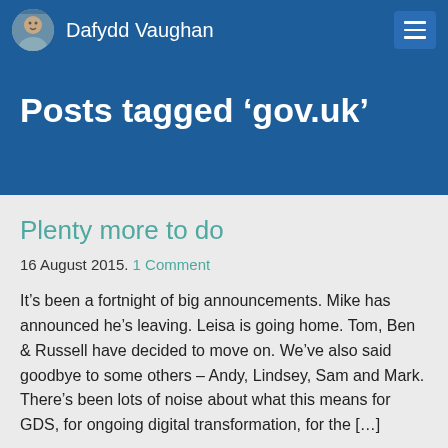Dafydd Vaughan
Posts tagged ‘gov.uk’
Plenty more to do
16 August 2015. 1 Comment
It’s been a fortnight of big announcements. Mike has announced he’s leaving. Leisa is going home. Tom, Ben & Russell have decided to move on. We’ve also said goodbye to some others – Andy, Lindsey, Sam and Mark. There’s been lots of noise about what this means for GDS, for ongoing digital transformation, for the […]